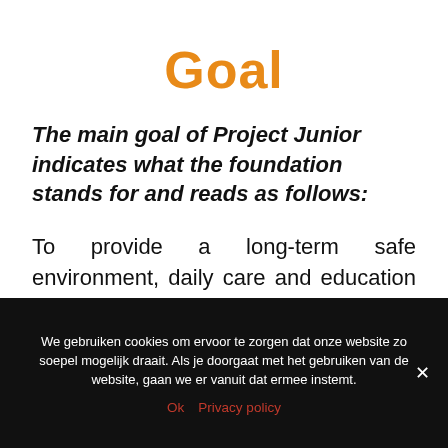Goal
The main goal of Project Junior indicates what the foundation stands for and reads as follows:
To provide a long-term safe environment, daily care and education to these 15 vulnerable children who are involved in
We gebruiken cookies om ervoor te zorgen dat onze website zo soepel mogelijk draait. Als je doorgaat met het gebruiken van de website, gaan we er vanuit dat ermee instemt.
Ok   Privacy policy